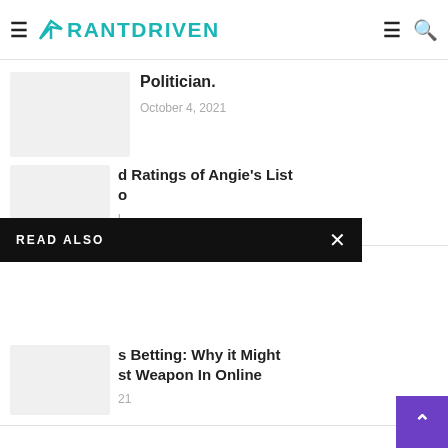RANTDRIVEN
Politician.
October 4, 2021
READ ALSO
d Ratings of Angie's List o
l
s Betting: Why it Might st Weapon In Online
21
nd the Web: Fabulous About The Most Useful